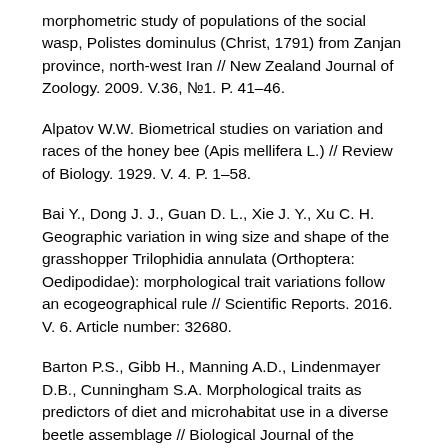morphometric study of populations of the social wasp, Polistes dominulus (Christ, 1791) from Zanjan province, north-west Iran // New Zealand Journal of Zoology. 2009. V.36, №1. P. 41–46.
Alpatov W.W. Biometrical studies on variation and races of the honey bee (Apis mellifera L.) // Review of Biology. 1929. V. 4. P. 1–58.
Bai Y., Dong J. J., Guan D. L., Xie J. Y., Xu C. H. Geographic variation in wing size and shape of the grasshopper Trilophidia annulata (Orthoptera: Oedipodidae): morphological trait variations follow an ecogeographical rule // Scientific Reports. 2016. V. 6. Article number: 32680.
Barton P.S., Gibb H., Manning A.D., Lindenmayer D.B., Cunningham S.A. Morphological traits as predictors of diet and microhabitat use in a diverse beetle assemblage // Biological Journal of the Linnean Society. 2011. V. 102(2). P. 301–310.